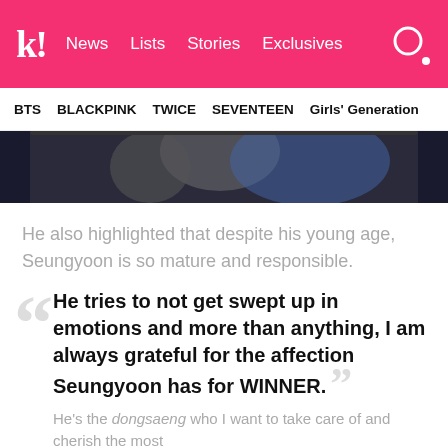kl! News Lists Stories Exclusives
BTS BLACKPINK TWICE SEVENTEEN Girls' Generation
[Figure (photo): Dark concert or event photo with blurred figures and blue/purple lighting]
He also highlighted that despite his young age, Seungyoon is so mature and responsible.
He tries to not get swept up in emotions and more than anything, I am always grateful for the affection Seungyoon has for WINNER. He's the dongsaeng who I want to take care of and cherish the most